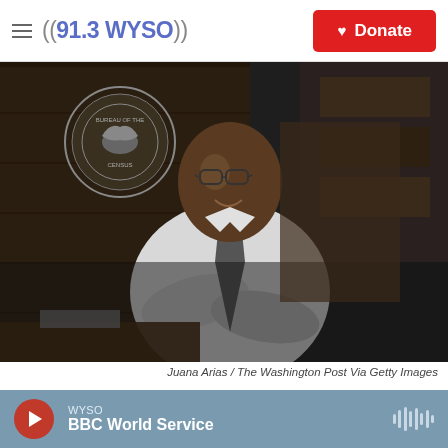((91.3 WYSO))  Donate
[Figure (photo): Black and white photograph of James F. Holmes standing in his office with arms crossed, smiling. The Bureau of the Census seal is visible on the wall behind him, along with wood paneling and bookshelves.]
Juana Arias / The Washington Post Via Getty Images
James F. Holmes, the first-ever person of color to oversee the U.S. head count, stands inside his office at the Census Bureau's former headquarters in Suitland, Md., in 1998, when Holmes served as acting director for about
WYSO  BBC World Service